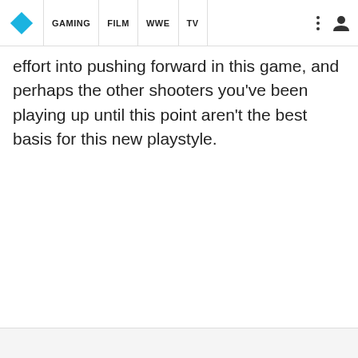GAMING | FILM | WWE | TV
effort into pushing forward in this game, and perhaps the other shooters you've been playing up until this point aren't the best basis for this new playstyle.